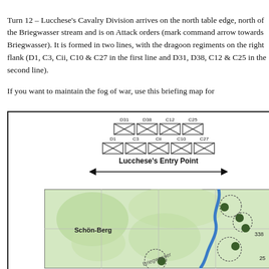Turn 12 – Lucchese's Cavalry Division arrives on the north table edge, north of the Briegwasser stream and is on Attack orders (mark command arrow towards Briegwasser). It is formed in two lines, with the dragoon regiments on the right flank (D1, C3, Cii, C10 & C27 in the first line and D31, D38, C12 & C25 in the second line).
If you want to maintain the fog of war, use this briefing map for
[Figure (schematic): Tactical map showing Lucchese's Entry Point with two rows of cavalry unit symbols (D31, D38, C12, C25 in second line; D1, C3, Cii, C10, C27 in first line), a double-headed arrow indicating entry zone, and a map section showing Schön-Berg area with green terrain, blue Briegwasser stream, grid lines, dotted circles indicating unit positions, and dark green circular unit markers. Numbers 338 and 25 partially visible.]